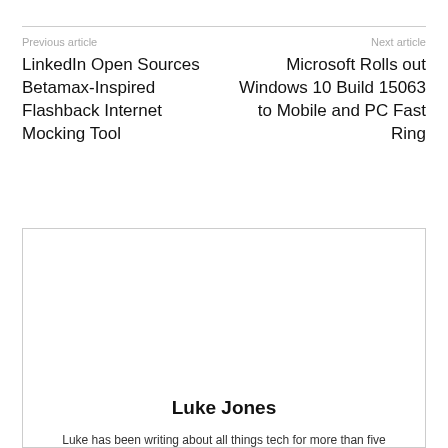Previous article
LinkedIn Open Sources Betamax-Inspired Flashback Internet Mocking Tool
Next article
Microsoft Rolls out Windows 10 Build 15063 to Mobile and PC Fast Ring
Luke Jones
Luke has been writing about all things tech for more than five years. He is following Microsoft closely to bring you the latest news about Windows, Office, Azure, Skype, HoloLens and all the rest of